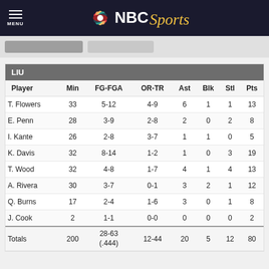NBC Sports
| Player | Min | FG-FGA | OR-TR | Ast | Blk | Stl | Pts |
| --- | --- | --- | --- | --- | --- | --- | --- |
| T. Flowers | 33 | 5-12 | 4-9 | 6 | 1 | 1 | 13 |
| E. Penn | 28 | 3-9 | 2-8 | 2 | 0 | 2 | 8 |
| I. Kante | 26 | 2-8 | 3-7 | 1 | 1 | 0 | 5 |
| K. Davis | 32 | 8-14 | 1-2 | 1 | 0 | 3 | 19 |
| T. Wood | 32 | 4-8 | 1-7 | 4 | 1 | 4 | 13 |
| A. Rivera | 30 | 3-7 | 0-1 | 3 | 2 | 1 | 12 |
| Q. Burns | 17 | 2-4 | 1-6 | 3 | 0 | 1 | 8 |
| J. Cook | 2 | 1-1 | 0-0 | 0 | 0 | 0 | 2 |
| Totals | 200 | 28-63 (.444) | 12-44 | 20 | 5 | 12 | 80 |